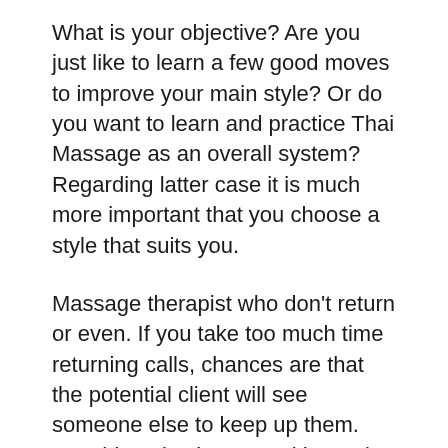What is your objective? Are you just like to learn a few good moves to improve your main style? Or do you want to learn and practice Thai Massage as an overall system? Regarding latter case it is much more important that you choose a style that suits you.
Massage therapist who don't return or even. If you take too much time returning calls, chances are that the potential client will see someone else to keep up them. Sunshine also happen with regular massage satisfied customers. If you think happen to be the only massage therapist out there for your clients, reconsider. If you keep these things waiting too long, you'll end up one client short.